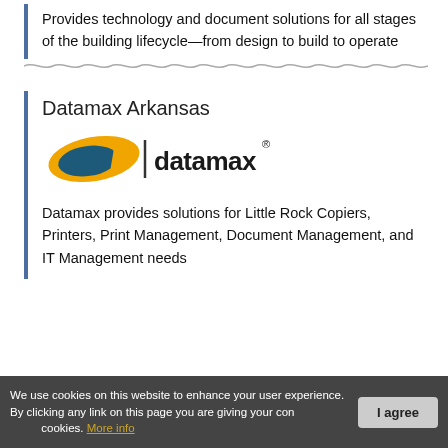Provides technology and document solutions for all stages of the building lifecycle—from design to build to operate
Datamax Arkansas
[Figure (logo): Datamax logo: orange swoosh/arrow shape with dark teal oval, vertical bar separator, then 'datamax' in bold dark text with registered trademark symbol]
Datamax provides solutions for Little Rock Copiers, Printers, Print Management, Document Management, and IT Management needs
We use cookies on this website to enhance your user experience. By clicking any link on this page you are giving your consent for us to set cookies. More info